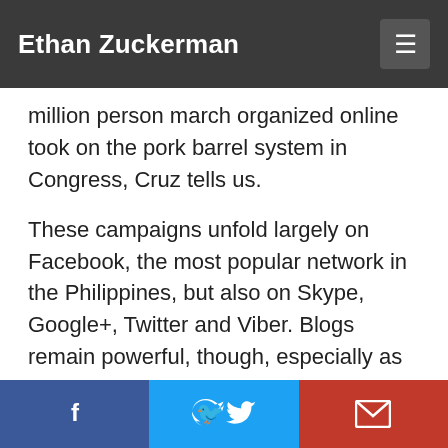Ethan Zuckerman
million person march organized online took on the pork barrel system in Congress, Cruz tells us.
These campaigns unfold largely on Facebook, the most popular network in the Philippines, but also on Skype, Google+, Twitter and Viber. Blogs remain powerful, though, especially as a way of speaking out against media misrepresentations. Ruben Licera, a longtime blogger and social media expert, tells us the story of a campaign by a Cebuano blogger to combat an ad campaign featuring and misrepresenting indigenous Cebuano hero Lapu-Lapu to sell diapers. His blog, amplified by Licera and others, gathered thousands to the cause and through viral spread, forced EO Diaper to pull the ad. Another blog campaign
f  [Twitter icon]  [Email icon]